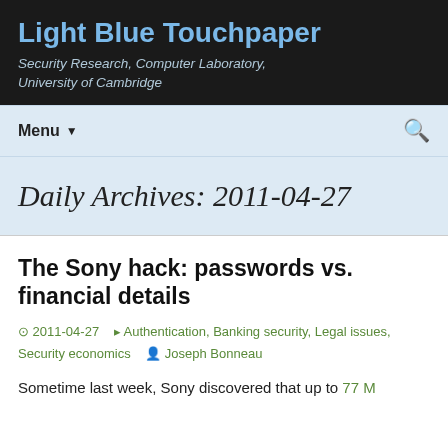Light Blue Touchpaper
Security Research, Computer Laboratory, University of Cambridge
Menu
Daily Archives: 2011-04-27
The Sony hack: passwords vs. financial details
2011-04-27   Authentication, Banking security, Legal issues, Security economics   Joseph Bonneau
Sometime last week, Sony discovered that up to 77 M